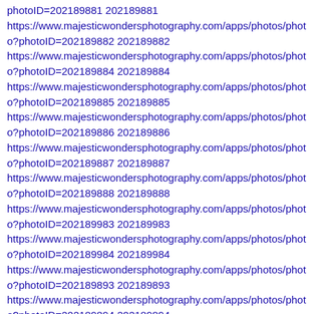photoID=202189881 202189881
https://www.majesticwondersphotography.com/apps/photos/photo?photoID=202189882 202189882
https://www.majesticwondersphotography.com/apps/photos/photo?photoID=202189884 202189884
https://www.majesticwondersphotography.com/apps/photos/photo?photoID=202189885 202189885
https://www.majesticwondersphotography.com/apps/photos/photo?photoID=202189886 202189886
https://www.majesticwondersphotography.com/apps/photos/photo?photoID=202189887 202189887
https://www.majesticwondersphotography.com/apps/photos/photo?photoID=202189888 202189888
https://www.majesticwondersphotography.com/apps/photos/photo?photoID=202189983 202189983
https://www.majesticwondersphotography.com/apps/photos/photo?photoID=202189984 202189984
https://www.majesticwondersphotography.com/apps/photos/photo?photoID=202189893 202189893
https://www.majesticwondersphotography.com/apps/photos/photo?photoID=202189894 202189894
https://www.majesticwondersphotography.com/apps/photos/photo?photoID=202189895 202189895
https://www.majesticwondersphotography.com/apps/photos/photo?photoID=202189896 202189896